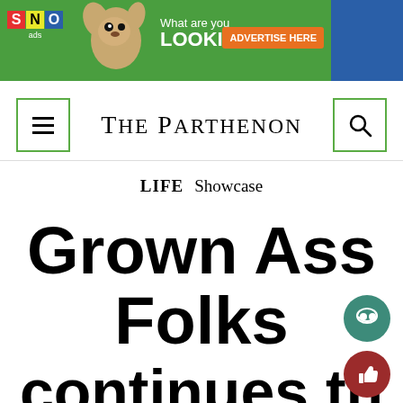[Figure (screenshot): SNO ads advertisement banner with green background, chihuahua dog image, text 'What are you LOOKING AT?' and orange 'ADVERTISE HERE' button on blue right panel]
THE PARTHENON
LIFE   Showcase
Grown Ass Folks continues the…